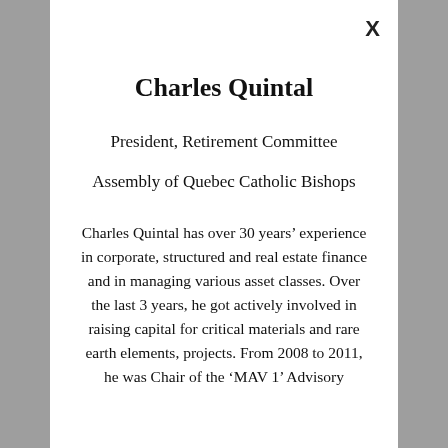Charles Quintal
President, Retirement Committee
Assembly of Quebec Catholic Bishops
Charles Quintal has over 30 years’ experience in corporate, structured and real estate finance and in managing various asset classes. Over the last 3 years, he got actively involved in raising capital for critical materials and rare earth elements, projects. From 2008 to 2011, he was Chair of the ‘MAV 1’ Advisory